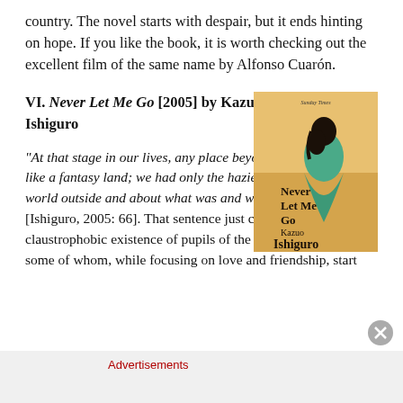country. The novel starts with despair, but it ends hinting on hope. If you like the book, it is worth checking out the excellent film of the same name by Alfonso Cuarón.
VI. Never Let Me Go [2005] by Kazuo Ishiguro
[Figure (illustration): Book cover of Never Let Me Go by Kazuo Ishiguro — orange/amber background with a dark-haired figure in teal/green dress from behind, title and author name in dark text]
“At that stage in our lives, any place beyond Hailsham was like a fantasy land; we had only the haziest notions of the world outside and about what was and wasn’t possible there” [Ishiguro, 2005: 66]. That sentence just conveys the claustrophobic existence of pupils of the Hailsham School, some of whom, while focusing on love and friendship, start
Advertisements